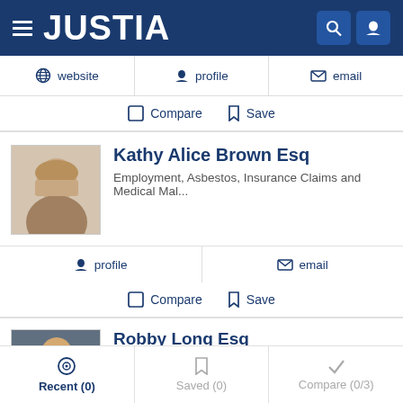JUSTIA
website | profile | email
Compare  Save
Kathy Alice Brown Esq
Employment, Asbestos, Insurance Claims and Medical Mal...
profile  email
Compare  Save
Robby Long Esq
(304) 416-5664
Recent (0)  Saved (0)  Compare (0/3)